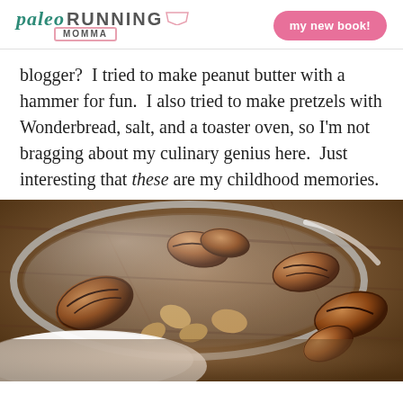paleo RUNNING MOMMA | my new book!
blogger?  I tried to make peanut butter with a hammer for fun.  I also tried to make pretzels with Wonderbread, salt, and a toaster oven, so I'm not bragging about my culinary genius here.  Just interesting that these are my childhood memories.
[Figure (photo): Close-up photograph of mixed nuts (pecans and other nuts) in a glass bowl on a wooden surface, shot from above at an angle.]